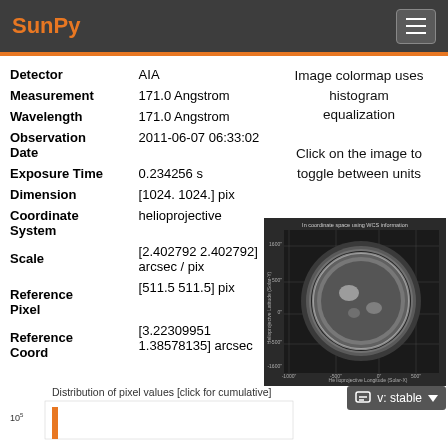SunPy
| Field | Value |
| --- | --- |
| Detector | AIA |
| Measurement | 171.0 Angstrom |
| Wavelength | 171.0 Angstrom |
| Observation Date | 2011-06-07 06:33:02 |
| Exposure Time | 0.234256 s |
| Dimension | [1024. 1024.] pix |
| Coordinate System | helioprojective |
| Scale | [2.402792 2.402792] arcsec / pix |
| Reference Pixel | [511.5 511.5] pix |
| Reference Coord | [3.22309951 1.38578135] arcsec |
Image colormap uses histogram equalization
Click on the image to toggle between units
[Figure (photo): Solar image in helioprojective coordinate space using WCS information. Shows AIA 171 Angstrom image of the Sun in grayscale with coordinate axes.]
[Figure (histogram): Distribution of pixel values [click for cumulative], y-axis starting at 10^5]